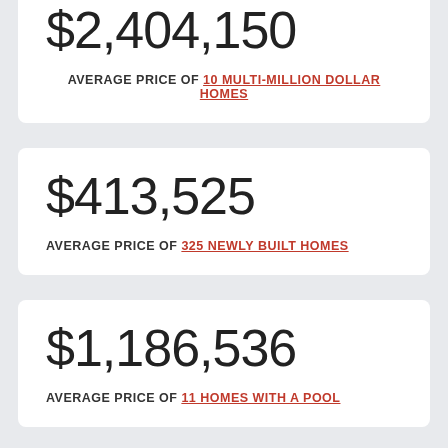$2,404,150
AVERAGE PRICE OF 10 MULTI-MILLION DOLLAR HOMES
$413,525
AVERAGE PRICE OF 325 NEWLY BUILT HOMES
$1,186,536
AVERAGE PRICE OF 11 HOMES WITH A POOL